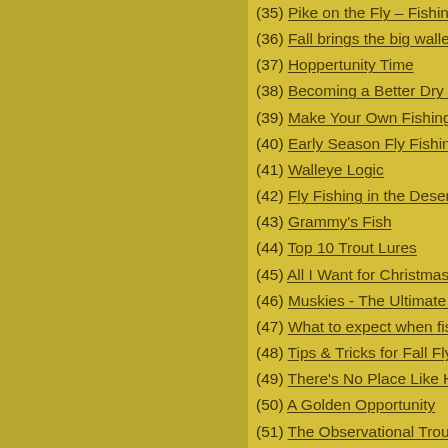(35) Pike on the Fly – Fishing N…
(36) Fall brings the big walleye o…
(37) Hoppertunity Time
(38) Becoming a Better Dry Fly A…
(39) Make Your Own Fishing Adv…
(40) Early Season Fly Fishing
(41) Walleye Logic
(42) Fly Fishing in the Desert
(43) Grammy's Fish
(44) Top 10 Trout Lures
(45) All I Want for Christmas – N…
(46) Muskies - The Ultimate Pre…
(47) What to expect when fishin…
(48) Tips & Tricks for Fall Fly Fis…
(49) There's No Place Like Hom…
(50) A Golden Opportunity
(51) The Observational Trout Fis…
(52) Un-matching the Hatch
(53) Alberta Super Bugs